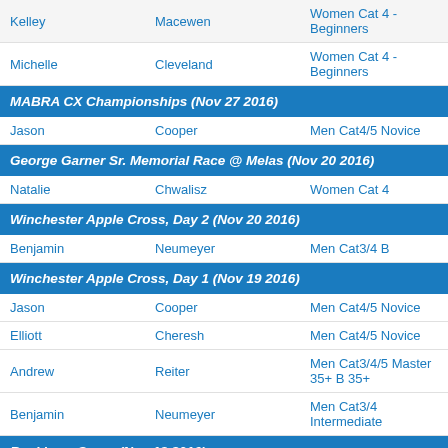| First | Last | Category |
| --- | --- | --- |
| Kelley | Macewen | Women Cat 4 - Beginners |
| Michelle | Cleveland | Women Cat 4 - Beginners |
MABRA CX Championships (Nov 27 2016)
| First | Last | Category |
| --- | --- | --- |
| Jason | Cooper | Men Cat4/5 Novice |
George Garner Sr. Memorial Race @ Melas (Nov 20 2016)
| First | Last | Category |
| --- | --- | --- |
| Natalie | Chwalisz | Women Cat 4 |
Winchester Apple Cross, Day 2 (Nov 20 2016)
| First | Last | Category |
| --- | --- | --- |
| Benjamin | Neumeyer | Men Cat3/4 B |
Winchester Apple Cross, Day 1 (Nov 19 2016)
| First | Last | Category |
| --- | --- | --- |
| Jason | Cooper | Men Cat4/5 Novice |
| Elliott | Cheresh | Men Cat4/5 Novice |
| Andrew | Reiter | Men Cat3/4/5 Master 35+ B 35+ |
| Benjamin | Neumeyer | Men Cat3/4 Intermediate |
Rockburn Cross (Nov 13 2016)
| First | Last | Category |
| --- | --- | --- |
| Stefan | Gissler | Men Master B 35+ Cat3/4/5 |